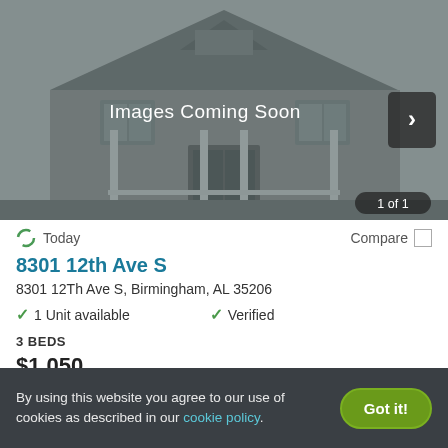[Figure (photo): Gray-toned photo of a Victorian-style house with 'Images Coming Soon' overlay text and a right arrow navigation button. Counter showing '1 of 1' in bottom right.]
Today
Compare
8301 12th Ave S
8301 12Th Ave S, Birmingham, AL 35206
1 Unit available
Verified
3 BEDS
$1,050
By using this website you agree to our use of cookies as described in our cookie policy.